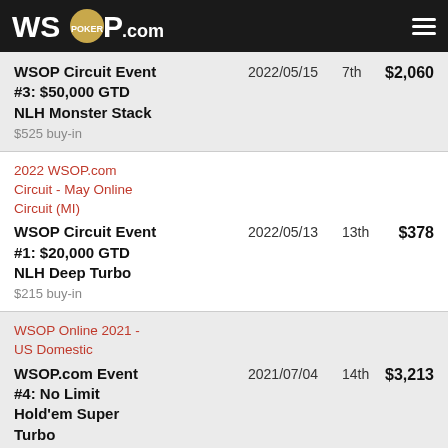WSOP.com
| Event | Date | Place | Prize |
| --- | --- | --- | --- |
| WSOP Circuit Event #3: $50,000 GTD NLH Monster Stack ($525 buy-in) | 2022/05/15 | 7th | $2,060 |
| 2022 WSOP.com Circuit - May Online Circuit (MI) — WSOP Circuit Event #1: $20,000 GTD NLH Deep Turbo ($215 buy-in) | 2022/05/13 | 13th | $378 |
| WSOP Online 2021 - US Domestic — WSOP.com Event #4: No Limit Hold'em Super Turbo | 2021/07/04 | 14th | $3,213 |